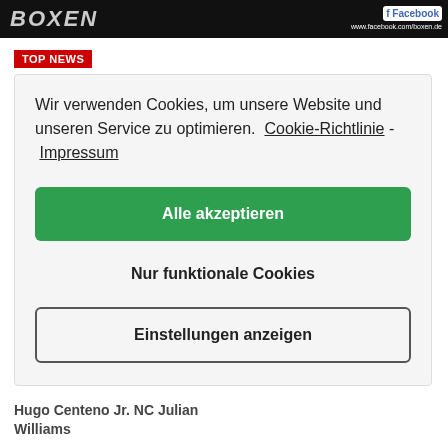[Figure (screenshot): Dark header banner with boxing website logo/title 'BOXEN' in stylized italic text and Facebook branding on the right showing 'Facebook' icon and 'www.facebook.com/boxen.de']
TOP NEWS
Wir verwenden Cookies, um unsere Website und unseren Service zu optimieren.  Cookie-Richtlinie  -  Impressum
Alle akzeptieren
Nur funktionale Cookies
Einstellungen anzeigen
Hugo Centeno Jr. NC Julian Williams